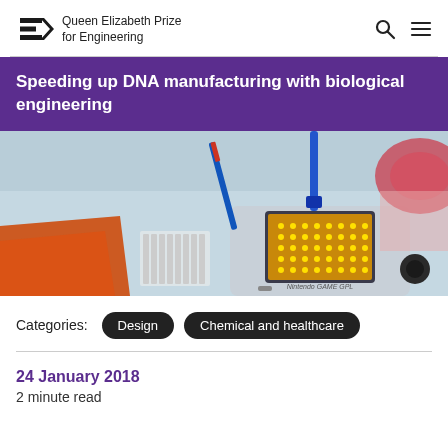Queen Elizabeth Prize for Engineering
Speeding up DNA manufacturing with biological engineering
[Figure (photo): Close-up photo of electronics lab equipment including a Nintendo Game Boy device with yellow LED dots on its screen, blue tools, and colored materials on a light blue surface.]
Categories: Design Chemical and healthcare
24 January 2018
2 minute read